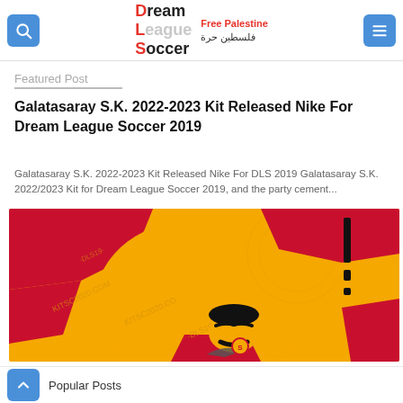Dream League Soccer | Free Palestine فلسطين حرة
Featured Post
Galatasaray S.K. 2022-2023 Kit Released Nike For Dream League Soccer 2019
Galatasaray S.K. 2022-2023 Kit Released Nike For DLS 2019 Galatasaray S.K. 2022/2023 Kit for Dream League Soccer 2019, and the party cement...
[Figure (photo): Galatasaray soccer kit design in yellow and red colors with player graphic, showing a football kit with Nike branding and Galatasaray logo]
Popular Posts